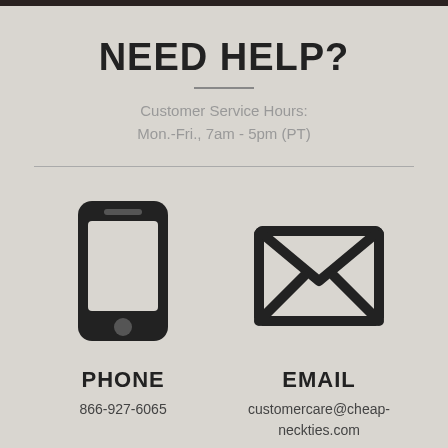NEED HELP?
Customer Service Hours:
Mon.-Fri., 7am - 5pm (PT)
[Figure (illustration): Black smartphone icon]
PHONE
866-927-6065
[Figure (illustration): Black envelope/email icon]
EMAIL
customercare@cheap-neckties.com